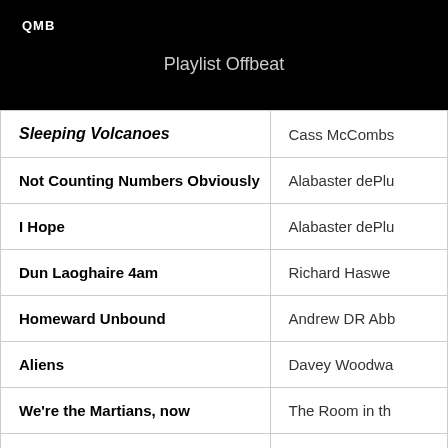QMB
Playlist Offbeat
| Song | Artist |
| --- | --- |
| Sleeping Volcanoes | Cass McCombs |
| Not Counting Numbers Obviously | Alabaster dePlu |
| I Hope | Alabaster dePlu |
| Dun Laoghaire 4am | Richard Haswe |
| Homeward Unbound | Andrew DR Abb |
| Aliens | Davey Woodwa |
| We're the Martians, now | The Room in th |
| You're Immortal | The Chills |
| Never Change Enough | Kelley Stoltz |
| John Clare | Philip Parfitt |